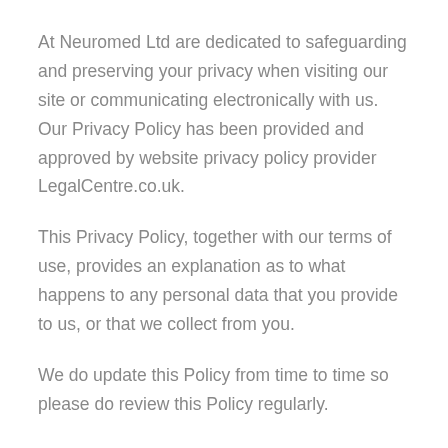At Neuromed Ltd are dedicated to safeguarding and preserving your privacy when visiting our site or communicating electronically with us. Our Privacy Policy has been provided and approved by website privacy policy provider LegalCentre.co.uk.
This Privacy Policy, together with our terms of use, provides an explanation as to what happens to any personal data that you provide to us, or that we collect from you.
We do update this Policy from time to time so please do review this Policy regularly.
Information We Collect